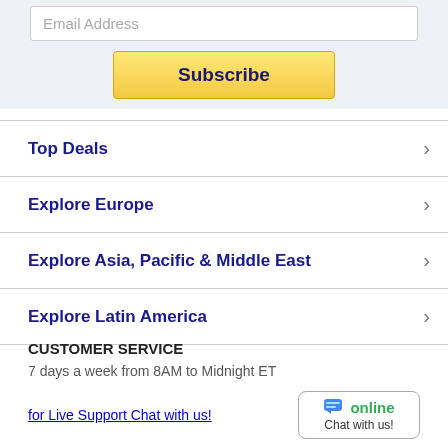Email Address
Subscribe
Top Deals
Explore Europe
Explore Asia, Pacific & Middle East
Explore Latin America
CUSTOMER SERVICE
7 days a week from 8AM to Midnight ET
for Live Support Chat with us!
[Figure (infographic): Online chat badge with speech bubble icon, green 'online' text, and 'Chat with us!' label]